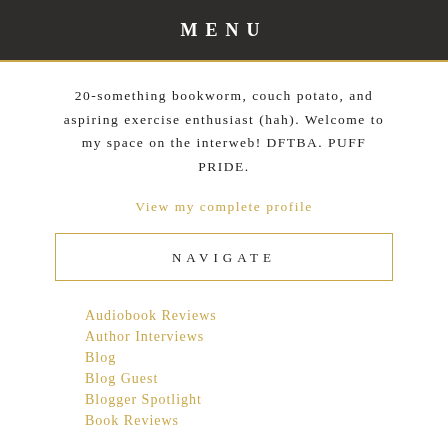MENU
20-something bookworm, couch potato, and aspiring exercise enthusiast (hah). Welcome to my space on the interweb! DFTBA. PUFF PRIDE.
View my complete profile
NAVIGATE
Audiobook Reviews
Author Interviews
Blog
Blog Guest
Blogger Spotlight
Book Reviews